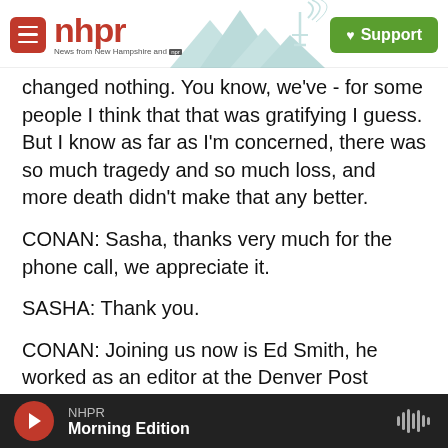nhpr — News from New Hampshire and NPR | Support
changed nothing. You know, we've - for some people I think that that was gratifying I guess. But I know as far as I'm concerned, there was so much tragedy and so much loss, and more death didn't make that any better.
CONAN: Sasha, thanks very much for the phone call, we appreciate it.
SASHA: Thank you.
CONAN: Joining us now is Ed Smith, he worked as an editor at the Denver Post during the Columbine
NHPR Morning Edition